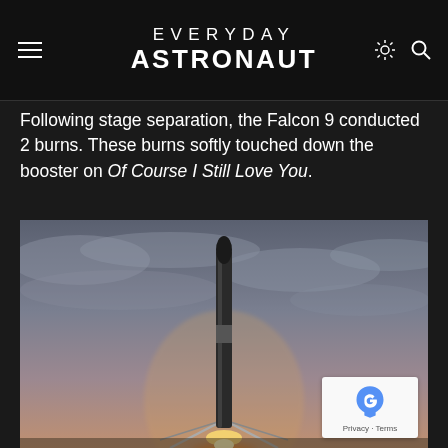EVERYDAY ASTRONAUT
Following stage separation, the Falcon 9 conducted 2 burns. These burns softly touched down the booster on Of Course I Still Love You.
[Figure (photo): A SpaceX Falcon 9 booster rocket landing on a drone ship at dusk/dawn, with dramatic cloudy sky and engine glow at bottom. Vertical orientation rocket on landing legs.]